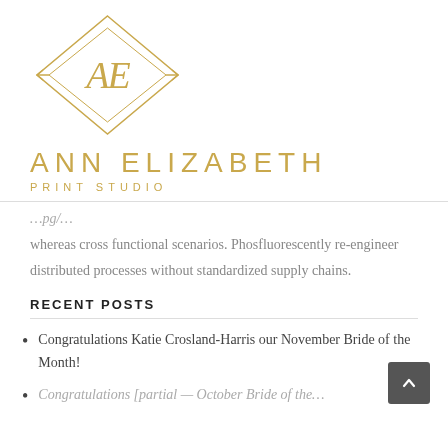[Figure (logo): Ann Elizabeth Print Studio logo: a diamond-shaped geometric monogram with the letters AE in an ornate style, in gold/champagne color]
ANN ELIZABETH
PRINT STUDIO
whereas cross functional scenarios. Phosfluorescently re-engineer distributed processes without standardized supply chains.
RECENT POSTS
Congratulations Katie Crosland-Harris our November Bride of the Month!
Congratulations [partial — cut off]